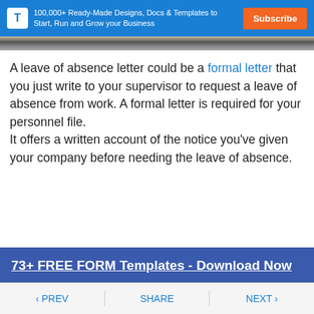100,000+ Ready-Made Designs, Docs & Templates to Start, Run and Grow your Business | Subscribe
[Figure (photo): Partial image strip showing a dark blurred photo at the top of the content area]
A leave of absence letter could be a formal letter that you just write to your supervisor to request a leave of absence from work. A formal letter is required for your personnel file. It offers a written account of the notice you've given your company before needing the leave of absence.
73+ FREE FORM Templates - Download Now
< PREV   SHARE   NEXT >